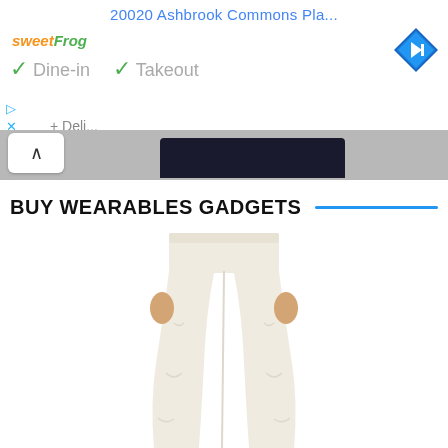20020 Ashbrook Commons Pla...
[Figure (screenshot): sweetFrog logo with orange and green text]
[Figure (logo): Blue diamond navigation/directions icon in top right]
✓ Dine-in ✓ Takeout
[Figure (screenshot): Google Maps screenshot showing a dark object on gray background with up-arrow button]
BUY WEARABLES GADGETS
[Figure (photo): Person wearing white coverall/protective suit pants, lower body visible from waist down]